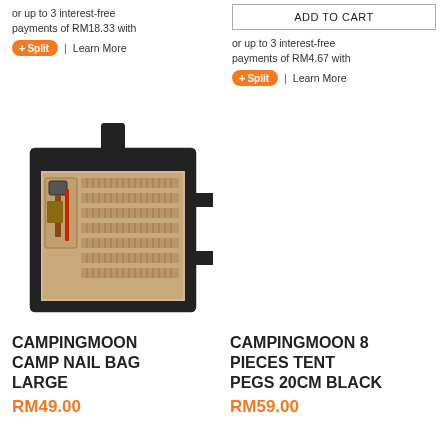or up to 3 interest-free payments of RM18.33 with
⊕ Split | Learn More
ADD TO CART
or up to 3 interest-free payments of RM4.67 with
⊕ Split | Learn More
[Figure (photo): CAMPINGMOON camp nail bag large - open roll bag with khaki canvas, black border and straps, showing tent pegs and hammer inside]
CAMPINGMOON CAMP NAIL BAG LARGE
RM49.00
CAMPINGMOON 8 PIECES TENT PEGS 20CM BLACK
RM59.00